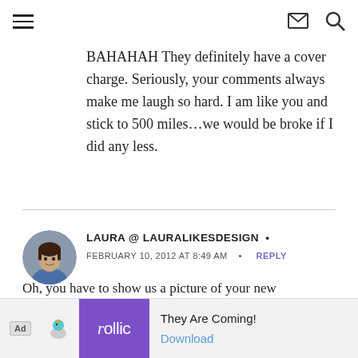[hamburger menu icon] [mail icon] [search icon]
BAHAHAH They definitely have a cover charge. Seriously, your comments always make me laugh so hard. I am like you and stick to 500 miles...we would be broke if I did any less.
[Figure (photo): Circular avatar photo of a woman (Laura) with dark hair, wearing a blue plaid shirt, standing against a brick wall background]
LAURA @ LAURALIKESDESIGN •
FEBRUARY 10, 2012 AT 8:49 AM • REPLY
Oh, you have to show us a picture of your new
[Figure (other): Advertisement banner: Ad label, Rollic app icon, purple Rollic logo box, text 'They Are Coming!' and 'Download' link]